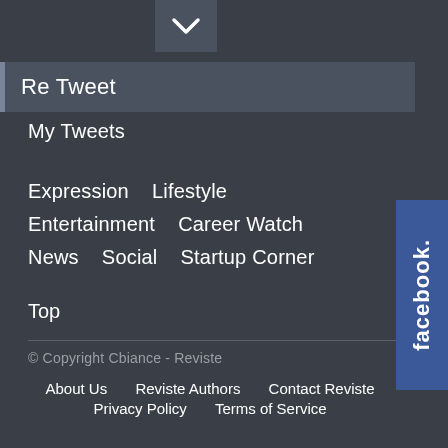[Figure (other): Chevron/dropdown arrow button icon in a dark gray box]
Re Tweet
My Tweets
Expression   Lifestyle
Entertainment   Career Watch
News   Social   Startup Corner
Top
© Copyright Cbiance - Reviste
About Us   Reviste Authors   Contact Reviste   Privacy Policy   Terms of Service